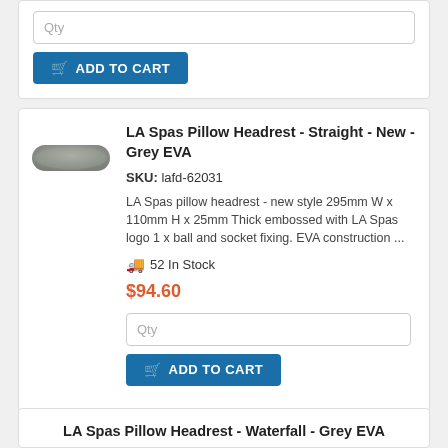Qty
ADD TO CART
LA Spas Pillow Headrest - Straight - New - Grey EVA
SKU: lafd-62031
LA Spas pillow headrest - new style 295mm W x 110mm H x 25mm Thick embossed with LA Spas logo 1 x ball and socket fixing. EVA construction ...
52 In Stock
$94.60
Qty
ADD TO CART
LA Spas Pillow Headrest - Waterfall - Grey EVA